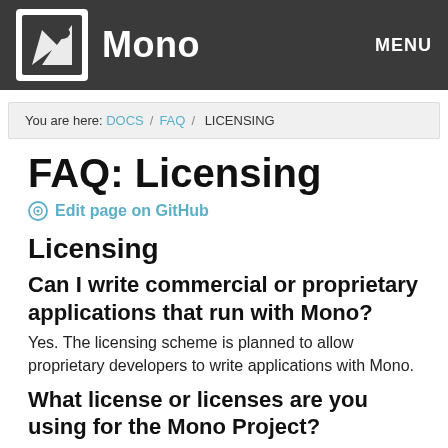Mono  MENU
You are here: DOCS / FAQ / LICENSING
FAQ: Licensing
Edit page on GitHub
Licensing
Can I write commercial or proprietary applications that run with Mono?
Yes. The licensing scheme is planned to allow proprietary developers to write applications with Mono.
What license or licenses are you using for the Mono Project?
The Mo...